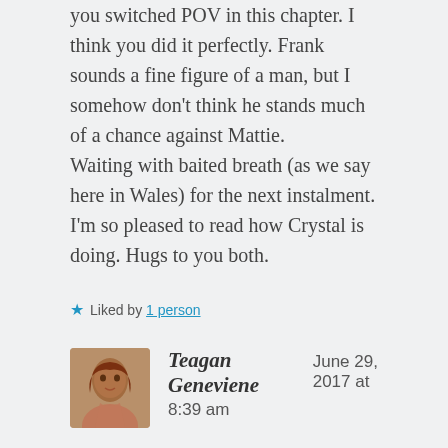you switched POV in this chapter. I think you did it perfectly. Frank sounds a fine figure of a man, but I somehow don't think he stands much of a chance against Mattie.
Waiting with baited breath (as we say here in Wales) for the next instalment.

I'm so pleased to read how Crystal is doing. Hugs to you both.
★ Liked by 1 person
Reply
Teagan Geneviene   June 29, 2017 at 8:39 am